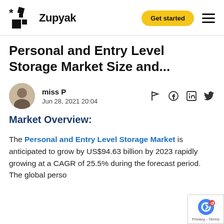Zupyak — Get started
Personal and Entry Level Storage Market Size and...
miss P — Jun 28, 2021 20:04
Market Overview:
The Personal and Entry Level Storage Market is anticipated to grow by US$94.63 billion by 2023 rapidly growing at a CAGR of 25.5% during the forecast period. The global perso...